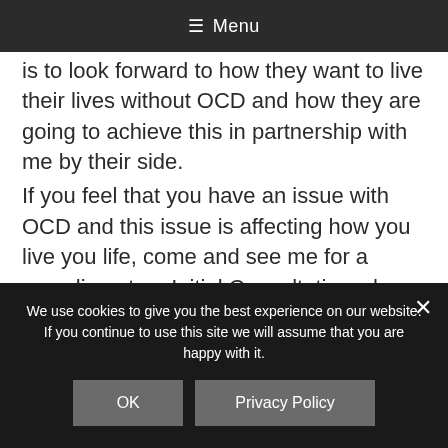≡ Menu
is to look forward to how they want to live their lives without OCD and how they are going to achieve this in partnership with  me by their side.

If you feel that you have an issue with OCD and this issue is affecting how you live you life, come and see me for a complimentary Initial Consultation where we can talk about how you are feeling and what you want to achieve and I will explain to you exactly what is happening in
We use cookies to give you the best experience on our website. If you continue to use this site we will assume that you are happy with it.
OK
Privacy Policy